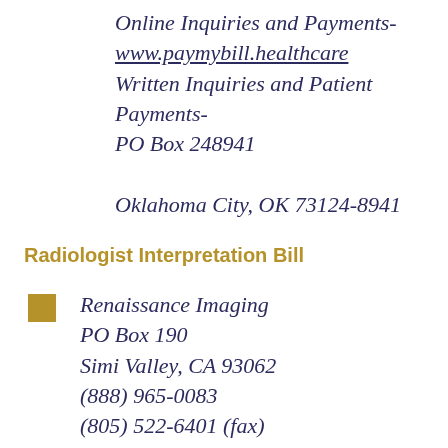Online Inquiries and Payments- www.paymybill.healthcare Written Inquiries and Patient Payments- PO Box 248941 Oklahoma City, OK 73124-8941
Radiologist Interpretation Bill
Renaissance Imaging PO Box 190 Simi Valley, CA 93062 (888) 965-0083 (805) 522-6401 (fax)